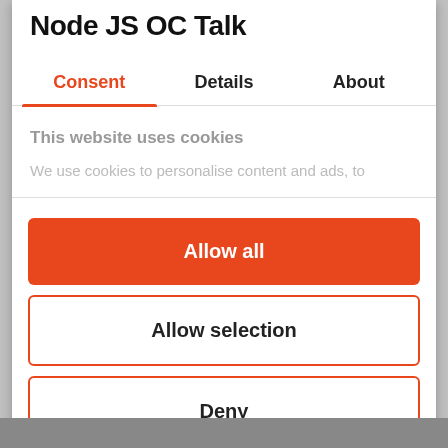Node JS OC Talk
Consent | Details | About
This website uses cookies
We use cookies to personalise content and ads, to
Allow all
Allow selection
Deny
Powered by Cookiebot by Usercentrics